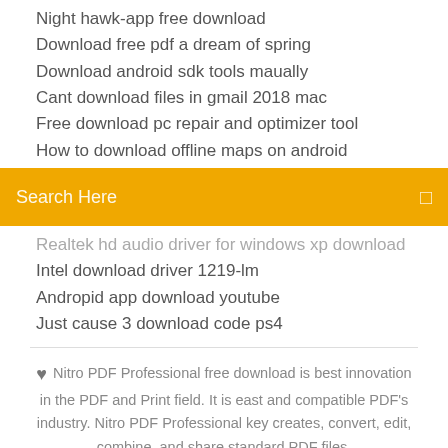Night hawk-app free download
Download free pdf a dream of spring
Download android sdk tools maually
Cant download files in gmail 2018 mac
Free download pc repair and optimizer tool
How to download offline maps on android
[Figure (screenshot): Orange search bar with text 'Search Here' and a small icon on the right]
Realtek hd audio driver for windows xp download
Intel download driver 1219-lm
Andropid app download youtube
Just cause 3 download code ps4
Nitro PDF Professional free download is best innovation in the PDF and Print field. It is east and compatible PDF's industry. Nitro PDF Professional key creates, convert, edit, combine, and share standard PDF files.